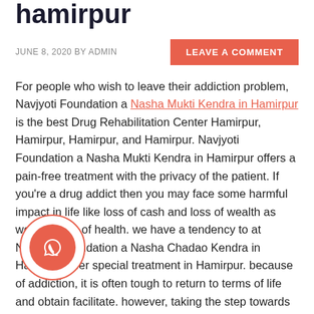hamirpur
JUNE 8, 2020 BY ADMIN
For people who wish to leave their addiction problem, Navjyoti Foundation a Nasha Mukti Kendra in Hamirpur is the best Drug Rehabilitation Center Hamirpur, Hamirpur, Hamirpur, and Hamirpur. Navjyoti Foundation a Nasha Mukti Kendra in Hamirpur offers a pain-free treatment with the privacy of the patient. If you're a drug addict then you may face some harmful impact in life like loss of cash and loss of wealth as well the loss of health. we have a tendency to at Navjyoti Foundation a Nasha Chadao Kendra in Hamirpur offer special treatment in Hamirpur. because of addiction, it is often tough to return to terms of life and obtain facilitate. however, taking the step towards rehabilitation is the sole sol
Our Method in Nasha Mukti Kendra Drug Rehabilitation